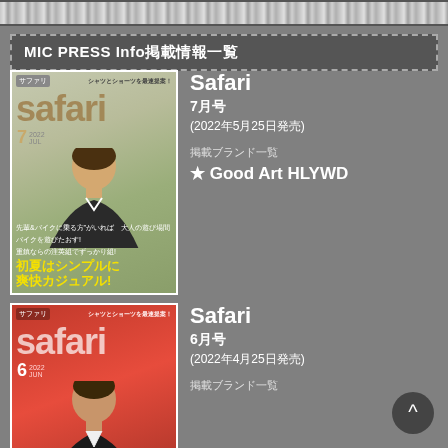MIC PRESS Info　掲載情報一覧
[Figure (photo): Safari magazine July 2022 issue cover showing a young man with dark hair on a light green background, with Japanese text reading 初夏はシンプルに爽快カジュアル!]
Safari
7月号
(2022年5月25日発売)
掲載ブランド一覧
★ Good Art HLYWD
[Figure (photo): Safari magazine June 2022 issue cover showing a man on a red background]
Safari
6月号
(2022年4月25日発売)
掲載ブランド一覧